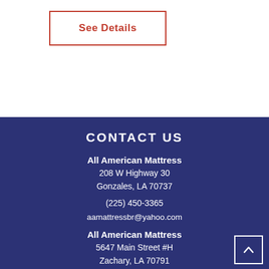See Details
CONTACT US
All American Mattress
208 W Highway 30
Gonzales, LA  70737
(225) 450-3365
aamattressbr@yahoo.com
All American Mattress
5647 Main Street #H
Zachary, LA  70791